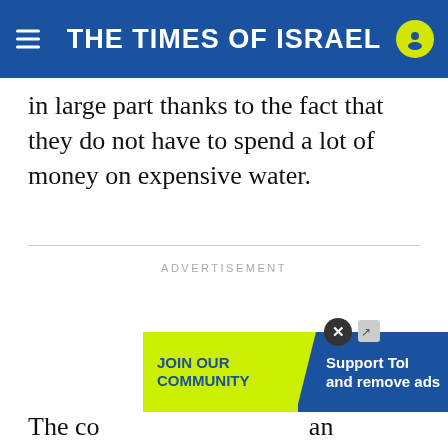THE TIMES OF ISRAEL
in large part thanks to the fact that they do not have to spend a lot of money on expensive water.
ADVERTISEMENT
The co an
[Figure (infographic): Advertisement banner with yellow and blue sections. Yellow section reads 'JOIN OUR COMMUNITY', blue section reads 'Support ToI and remove ads'. Has a close (X) button.]